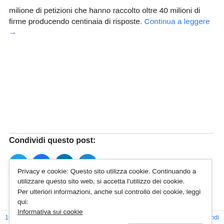milione di petizioni che hanno raccolto oltre 40 milioni di firme producendo centinaia di risposte. Continua a leggere →
Condividi questo post:
[Figure (illustration): Four blue social media sharing circular icon buttons partially visible]
Privacy e cookie: Questo sito utilizza cookie. Continuando a utilizzare questo sito web, si accetta l'utilizzo dei cookie. Per ulteriori informazioni, anche sul controllo dei cookie, leggi qui: Informativa sui cookie
Chiudi e accetta
16 gennaio 2017    Rispondi